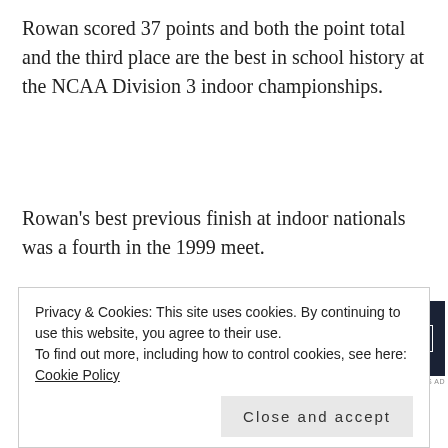Rowan scored 37 points and both the point total and the third place are the best in school history at the NCAA Division 3 indoor championships.
Rowan’s best previous finish at indoor nationals was a fourth in the 1999 meet.
[Figure (other): Advertisement banner for WordPress online course: 'Launch your online course with WordPress' with a Learn More button, dark navy background.]
Mount Union of Alliance, Ohio, scored 41 and North
Privacy & Cookies: This site uses cookies. By continuing to use this website, you agree to their use. To find out more, including how to control cookies, see here: Cookie Policy
Close and accept
selections. Terry, Bishop and Neville earned All-America